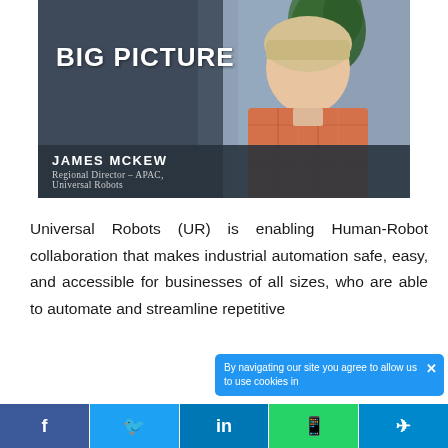[Figure (photo): Hero image showing 'BIG PICTURE' text overlay on dark background left side, with a smiling man in a pink plaid shirt on the right side, and a name bar at the bottom reading 'JAMES MCKEW, Regional Director – APAC, Universal Robots']
Universal Robots (UR) is enabling Human-Robot collaboration that makes industrial automation safe, easy, and accessible for businesses of all sizes, who are able to automate and streamline repetitive